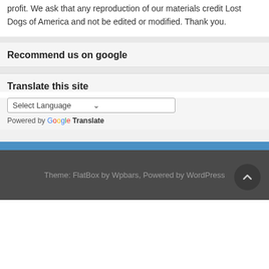profit. We ask that any reproduction of our materials credit Lost Dogs of America and not be edited or modified. Thank you.
Recommend us on google
Translate this site
Select Language
Powered by Google Translate
Theme: FlatBox by Wpbars, Powered by WordPress